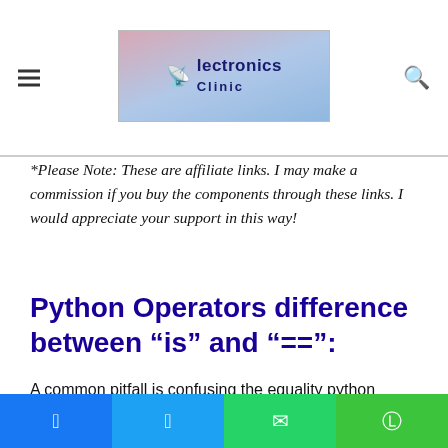Electronics Clinic [logo header with hamburger menu and search icon]
*Please Note: These are affiliate links. I may make a commission if you buy the components through these links. I would appreciate your support in this way!
Python Operators difference between “is” and “==”:
A common pitfall is confusing the equality python operators is and ==.
a == b compares the value of a and b.